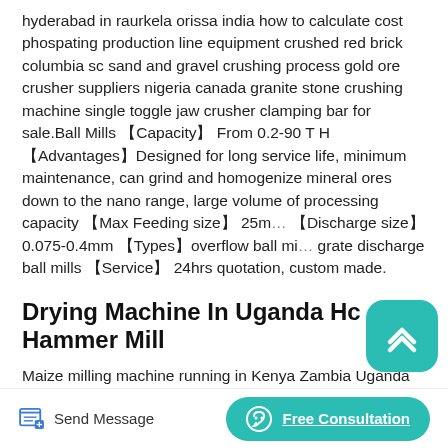hyderabad in raurkela orissa india how to calculate cost phospating production line equipment crushed red brick columbia sc sand and gravel crushing process gold ore crusher suppliers nigeria canada granite stone crushing machine single toggle jaw crusher clamping bar for sale.Ball Mills 【Capacity】 From 0.2-90 T H 【Advantages】Designed for long service life, minimum maintenance, can grind and homogenize mineral ores down to the nano range, large volume of processing capacity 【Max Feeding size】 25mm 【Discharge size】0.075-0.4mm 【Types】overflow ball mills, grate discharge ball mills 【Service】 24hrs quotation, custom made.
Drying Machine In Uganda Hc Hammer Mill
Maize milling machine running in Kenya Zambia Uganda Nigeria Ghana for superwhite maize meal maize fine flour
[Figure (other): Scroll-to-top button: rounded square teal button with upward chevron icon]
[Figure (other): Bottom action bar with 'Send Message' button (edit/paper icon) on the left and 'Free Consultation' teal pill button with headset icon on the right]